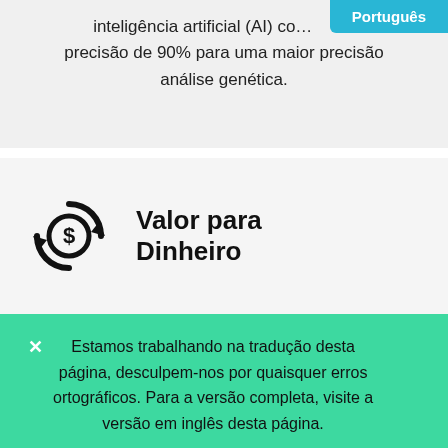inteligência artificial (AI) co... precisão de 90% para uma maior precisão análise genética.
Português
[Figure (illustration): Circular arrows icon with a dollar sign in the center, representing value for money]
Valor para Dinheiro
Estamos trabalhando na tradução desta página, desculpem-nos por quaisquer erros ortográficos. Para a versão completa, visite a versão em inglês desta página.